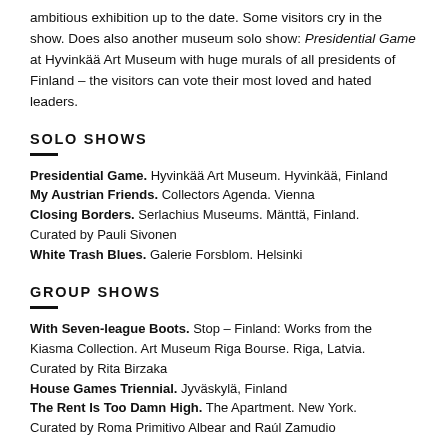ambitious exhibition up to the date. Some visitors cry in the show. Does also another museum solo show: Presidential Game at Hyvinkää Art Museum with huge murals of all presidents of Finland – the visitors can vote their most loved and hated leaders.
SOLO SHOWS
Presidential Game. Hyvinkää Art Museum. Hyvinkää, Finland
My Austrian Friends. Collectors Agenda. Vienna
Closing Borders. Serlachius Museums. Mänttä, Finland. Curated by Pauli Sivonen
White Trash Blues. Galerie Forsblom. Helsinki
GROUP SHOWS
With Seven-league Boots. Stop – Finland: Works from the Kiasma Collection. Art Museum Riga Bourse. Riga, Latvia. Curated by Rita Birzaka
House Games Triennial. Jyväskylä, Finland
The Rent Is Too Damn High. The Apartment. New York. Curated by Roma Primitivo Albear and Raúl Zamudio